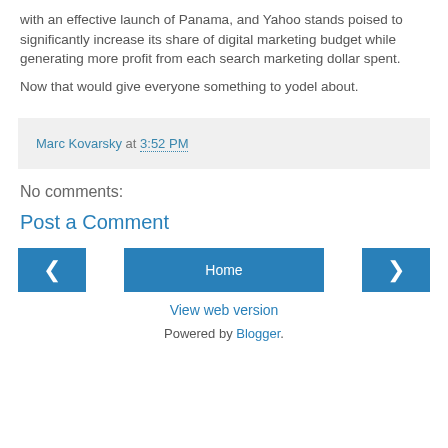with an effective launch of Panama, and Yahoo stands poised to significantly increase its share of digital marketing budget while generating more profit from each search marketing dollar spent.
Now that would give everyone something to yodel about.
Marc Kovarsky at 3:52 PM
No comments:
Post a Comment
◄
Home
►
View web version
Powered by Blogger.